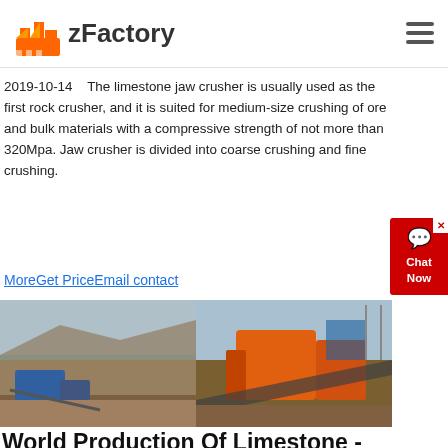zFactory
2019-10-14   The limestone jaw crusher is usually used as the first rock crusher, and it is suited for medium-size crushing of ore and bulk materials with a compressive strength of not more than 320Mpa. Jaw crusher is divided into coarse crushing and fine crushing.
MoreGet PriceEmail contact
[Figure (photo): Two photos of limestone crushing equipment at a mining/quarry site. Left image shows mobile crushing machinery on rocky terrain. Right image shows an orange industrial crusher system with conveyor belts against a blue sky.]
World Production Of Limestone - Hansestadt Demmin
World Production Of Limestone. Our company is committed to equipment for construction crushing, industrial grinding, ore processing and green building materials.If you are interested in our company and our products, you can click to consult or leave a message.We will provide you with valu